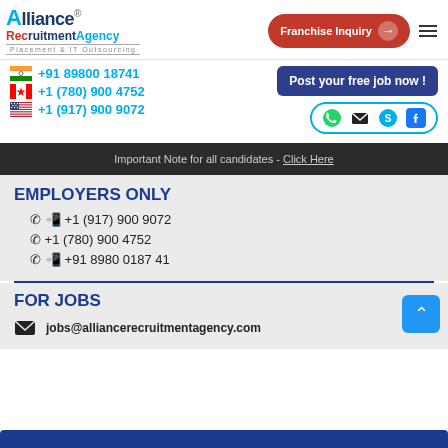[Figure (logo): Alliance Recruitment Agency logo with 'Placement & IT Outsourcing' tagline]
Franchise Inquiry →
+91 89800 18741
+1 (780) 900 4752
+1 (917) 900 9072
Post your free job now !
Important Note for all candidates - Click Here
EMPLOYERS ONLY
+1 (917) 900 9072
+1 (780) 900 4752
+91 8980 0187 41
FOR JOBS
jobs@alliancerecruitmentagency.com